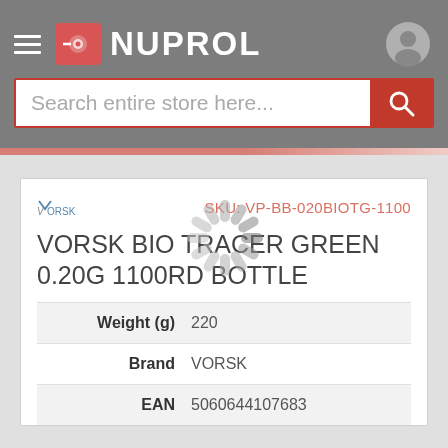NUPROL
Search entire store here...
SKU: VP-BB-020BIOTG-1100
VORSK BIO TRACER GREEN 0.20G 1100RD BOTTLE
|  |  |
| --- | --- |
| Weight (g) | 220 |
| Brand | VORSK |
| EAN | 5060644107683 |